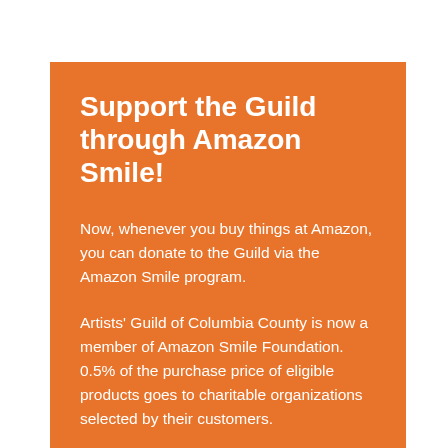Support the Guild through Amazon Smile!
Now, whenever you buy things at Amazon, you can donate to the Guild via the Amazon Smile program.
Artists' Guild of Columbia County is now a member of Amazon Smile Foundation. 0.5% of the purchase price of eligible products goes to charitable organizations selected by their customers.